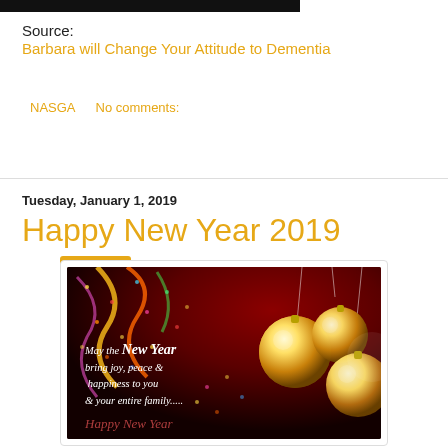[Figure (photo): Black banner/bar at top of page]
Source:
Barbara will Change Your Attitude to Dementia
NASGA    No comments:
Share
Tuesday, January 1, 2019
Happy New Year 2019
[Figure (photo): Happy New Year 2019 greeting card with gold ornaments, colorful confetti/streamers on dark red background. Text reads: May the New Year bring joy, peace & happiness to you & your entire family..... Happy New Year]